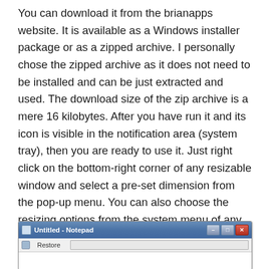You can download it from the brianapps website. It is available as a Windows installer package or as a zipped archive. I personally chose the zipped archive as it does not need to be installed and can be just extracted and used. The download size of the zip archive is a mere 16 kilobytes. After you have run it and its icon is visible in the notification area (system tray), then you are ready to use it. Just right click on the bottom-right corner of any resizable window and select a pre-set dimension from the pop-up menu. You can also choose the resizing options from the system menu of any window (just click on the icon on the top-left corner of the window) as shown below :
[Figure (screenshot): A screenshot of a Windows Notepad window title bar showing 'Untitled - Notepad' with minimize, maximize, and close buttons, and a menu bar below with a Restore option.]